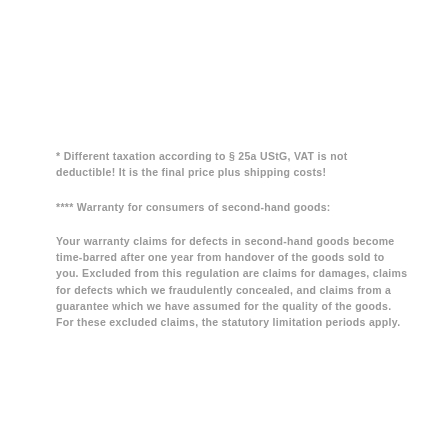* Different taxation according to § 25a UStG, VAT is not deductible! It is the final price plus shipping costs!
**** Warranty for consumers of second-hand goods:
Your warranty claims for defects in second-hand goods become time-barred after one year from handover of the goods sold to you. Excluded from this regulation are claims for damages, claims for defects which we fraudulently concealed, and claims from a guarantee which we have assumed for the quality of the goods. For these excluded claims, the statutory limitation periods apply.